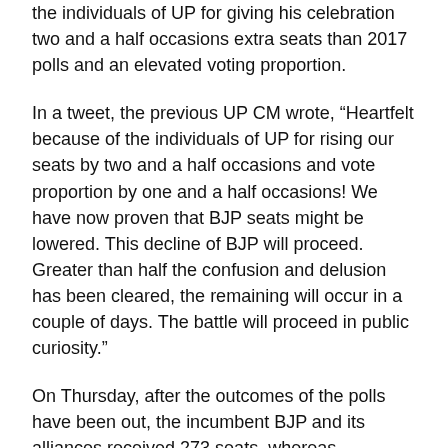the individuals of UP for giving his celebration two and a half occasions extra seats than 2017 polls and an elevated voting proportion.
In a tweet, the previous UP CM wrote, “Heartfelt because of the individuals of UP for rising our seats by two and a half occasions and vote proportion by one and a half occasions! We have now proven that BJP seats might be lowered. This decline of BJP will proceed. Greater than half the confusion and delusion has been cleared, the remaining will occur in a couple of days. The battle will proceed in public curiosity.”
On Thursday, after the outcomes of the polls have been out, the incumbent BJP and its alliances received 273 seats, whereas Samajwadi Occasion, the principle challenger, might win solely 125 seats. The tally of SP rose from 47 seats in 2017 to 125 in 2022, whereas the tally of BJP declined from 326 to 273 seats.